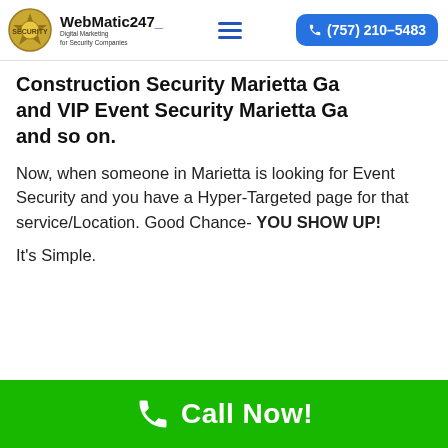[Figure (logo): WebMatic247 logo with badge and text 'Digital Marketing for Security Companies']
Construction Security Marietta Ga and VIP Event Security Marietta Ga and so on.
Now, when someone in Marietta is looking for Event Security and you have a Hyper-Targeted page for that service/Location. Good Chance- YOU SHOW UP!
It's Simple.
Call Now!